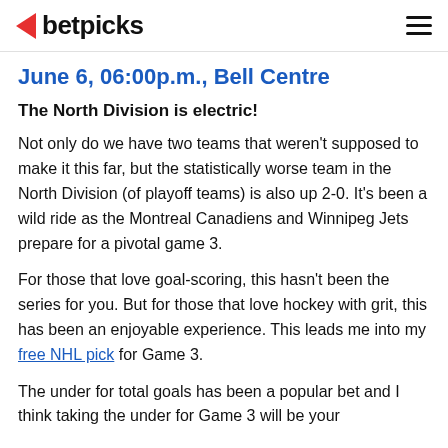betpicks
June 6, 06:00p.m., Bell Centre
The North Division is electric!
Not only do we have two teams that weren't supposed to make it this far, but the statistically worse team in the North Division (of playoff teams) is also up 2-0. It's been a wild ride as the Montreal Canadiens and Winnipeg Jets prepare for a pivotal game 3.
For those that love goal-scoring, this hasn't been the series for you. But for those that love hockey with grit, this has been an enjoyable experience. This leads me into my free NHL pick for Game 3.
The under for total goals has been a popular bet and I think taking the under for Game 3 will be your